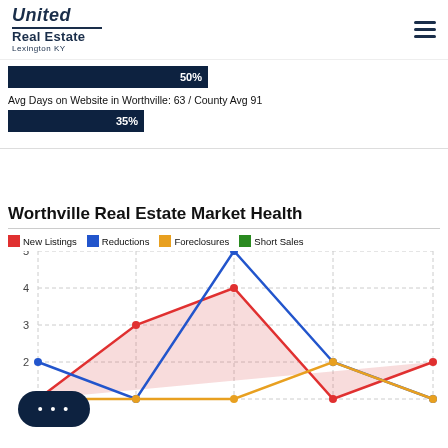[Figure (logo): United Real Estate Lexington KY logo]
50%
Avg Days on Website in Worthville: 63 / County Avg 91
35%
Worthville Real Estate Market Health
[Figure (line-chart): Worthville Real Estate Market Health]